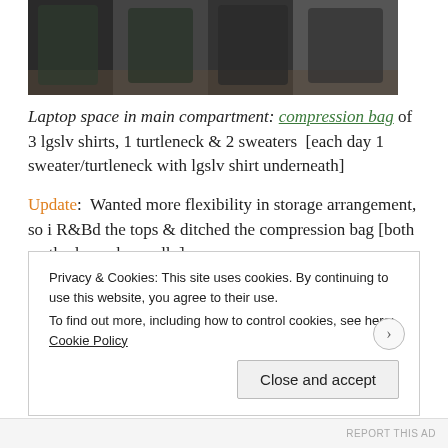[Figure (photo): Photo of compression bags with dark clothing items packed inside, photographed on a carpet surface]
Laptop space in main compartment: compression bag of 3 lgslv shirts, 1 turtleneck & 2 sweaters  [each day 1 sweater/turtleneck with lgslv shirt underneath]
Update:  Wanted more flexibility in storage arrangement, so i R&Bd the tops & ditched the compression bag [both methods work equally]
Privacy & Cookies: This site uses cookies. By continuing to use this website, you agree to their use.
To find out more, including how to control cookies, see here: Cookie Policy
Close and accept